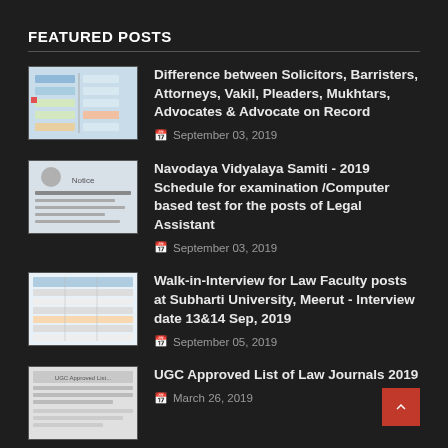FEATURED POSTS
Difference between Solicitors, Barristers, Attorneys, Vakil, Pleaders, Mukhtars, Advocates & Advocate on Record
September 03, 2019
Navodaya Vidyalaya Samiti - 2019 Schedule for examination /Computer based test for the posts of Legal Assistant
September 03, 2019
Walk-in-Interview for Law Faculty posts at Subharti University, Meerut - Interview date 13&14 Sep, 2019
September 05, 2019
UGC Approved List of Law Journals 2019
March 26, 2019